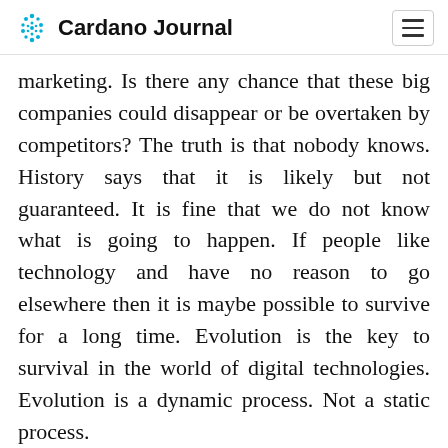Cardano Journal
marketing. Is there any chance that these big companies could disappear or be overtaken by competitors? The truth is that nobody knows. History says that it is likely but not guaranteed. It is fine that we do not know what is going to happen. If people like technology and have no reason to go elsewhere then it is maybe possible to survive for a long time. Evolution is the key to survival in the world of digital technologies. Evolution is a dynamic process. Not a static process.
People always want to use the best available